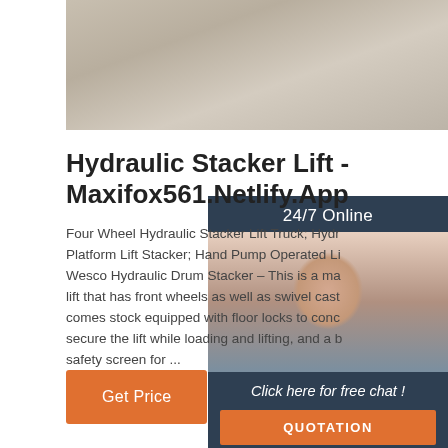[Figure (photo): Top banner photo of a concrete or stone floor surface, grayish-beige texture]
Hydraulic Stacker Lift - Maxifox561.Netlify.App
Four Wheel Hydraulic Stacker Lift Truck; Hydra Platform Lift Stacker; Hand Pump Operated Li Wesco Hydraulic Drum Stacker – This is a ma lift that has front wheels as well as swivel cast comes stock equipped with floor locks to conc secure the lift while loading and lifting, and a b safety screen for ...
[Figure (photo): 24/7 Online customer support widget showing a smiling woman with headset on dark blue/navy background with orange QUOTATION button and 'Click here for free chat!' text]
Get Price